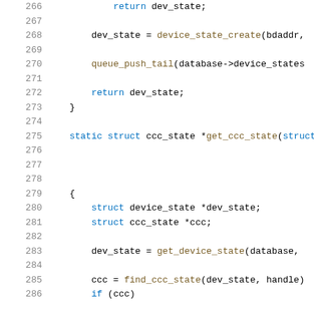Source code listing lines 266-286, C programming language
266        return dev_state;
267
268        dev_state = device_state_create(bdaddr,
269
270        queue_push_tail(database->device_states
271
272        return dev_state;
273    }
274
275    static struct ccc_state *get_ccc_state(struct b
276
277
278
279    {
280        struct device_state *dev_state;
281        struct ccc_state *ccc;
282
283        dev_state = get_device_state(database,
284
285        ccc = find_ccc_state(dev_state, handle)
286        if (ccc)